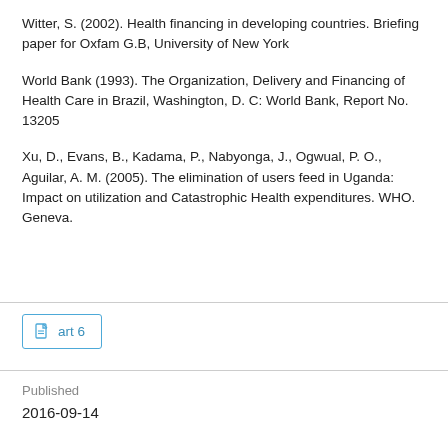Witter, S. (2002). Health financing in developing countries. Briefing paper for Oxfam G.B, University of New York
World Bank (1993). The Organization, Delivery and Financing of Health Care in Brazil, Washington, D. C: World Bank, Report No. 13205
Xu, D., Evans, B., Kadama, P., Nabyonga, J., Ogwual, P. O., Aguilar, A. M. (2005). The elimination of users feed in Uganda: Impact on utilization and Catastrophic Health expenditures. WHO. Geneva.
art 6
Published
2016-09-14